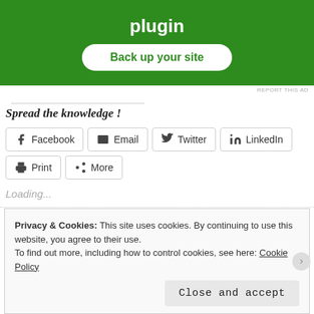[Figure (screenshot): Green advertisement banner with bold white text 'plugin' and a white rounded button labeled 'Back up your site' in green text]
REPORT THIS AD
Spread the knowledge !
Facebook
Email
Twitter
LinkedIn
Print
More
Loading...
Privacy & Cookies: This site uses cookies. By continuing to use this website, you agree to their use.
To find out more, including how to control cookies, see here: Cookie Policy
Close and accept